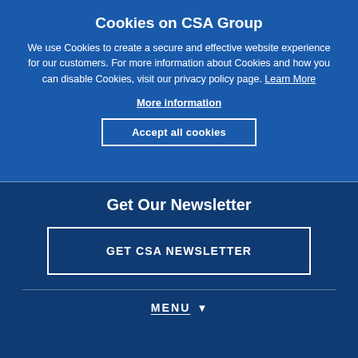Cookies on CSA Group
We use Cookies to create a secure and effective website experience for our customers. For more information about Cookies and how you can disable Cookies, visit our privacy policy page. Learn More
More information
Accept all cookies
Get Our Newsletter
GET CSA NEWSLETTER
MENU